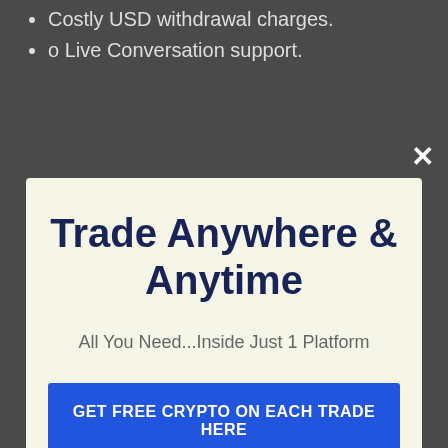Costly USD withdrawal charges.
o Live Conversation support.
Trade Anywhere & Anytime
All You Need...Inside Just 1 Platform
GET FREE CRYPTO ON EACH TRADE HERE
be restricted by their production as well as redemption speeds. For larger withdrawals this can take up to 6 hrs on weekdays and approximately one day on weekends
No thanks, I'm not interested!